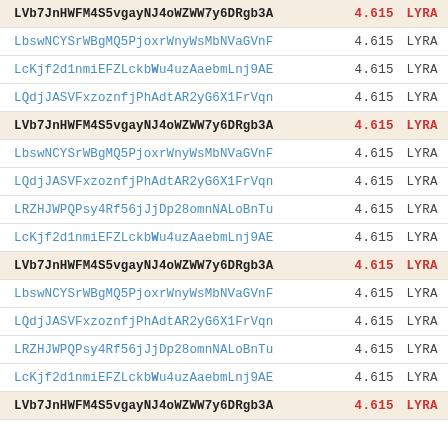| Identifier | Value | Tag |
| --- | --- | --- |
| LVb7JnHWFM4S5vgayNJ4oWZWW7y6DRgb3A | 4.615 | LYRA |
| LbswNCYSrWBgMQ5PjoxrWnyWsMbNVaGVnF | 4.615 | LYRA |
| LcKjf2d1nmiEFZLckbWu4uzAaebmLnj9AE | 4.615 | LYRA |
| LQdjJASVFxzoznfjPhAdtAR2yG6X1FrVqn | 4.615 | LYRA |
| LVb7JnHWFM4S5vgayNJ4oWZWW7y6DRgb3A | 4.615 | LYRA |
| LbswNCYSrWBgMQ5PjoxrWnyWsMbNVaGVnF | 4.615 | LYRA |
| LQdjJASVFxzoznfjPhAdtAR2yG6X1FrVqn | 4.615 | LYRA |
| LRZHJWPQPsy4Rf56jJjDp28omnNALoBnTu | 4.615 | LYRA |
| LcKjf2d1nmiEFZLckbWu4uzAaebmLnj9AE | 4.615 | LYRA |
| LVb7JnHWFM4S5vgayNJ4oWZWW7y6DRgb3A | 4.615 | LYRA |
| LbswNCYSrWBgMQ5PjoxrWnyWsMbNVaGVnF | 4.615 | LYRA |
| LQdjJASVFxzoznfjPhAdtAR2yG6X1FrVqn | 4.615 | LYRA |
| LRZHJWPQPsy4Rf56jJjDp28omnNALoBnTu | 4.615 | LYRA |
| LcKjf2d1nmiEFZLckbWu4uzAaebmLnj9AE | 4.615 | LYRA |
| LVb7JnHWFM4S5vgayNJ4oWZWW7y6DRgb3A | 4.615 | LYRA |